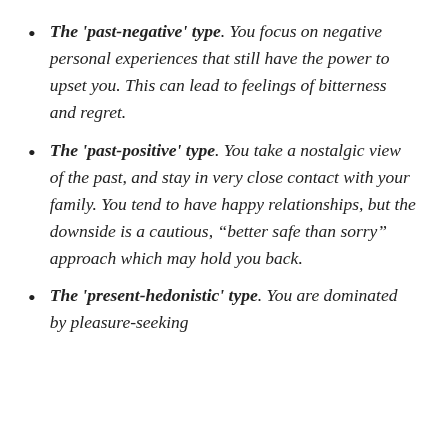The 'past-negative' type. You focus on negative personal experiences that still have the power to upset you. This can lead to feelings of bitterness and regret.
The 'past-positive' type. You take a nostalgic view of the past, and stay in very close contact with your family. You tend to have happy relationships, but the downside is a cautious, “better safe than sorry” approach which may hold you back.
The 'present-hedonistic' type. You are dominated by pleasure-seeking